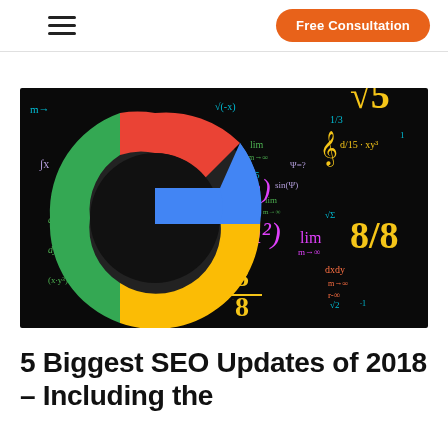Free Consultation
[Figure (illustration): Google logo (colorful G) overlaid on a black chalkboard background filled with mathematical formulas, equations, and symbols in neon colors]
5 Biggest SEO Updates of 2018 – Including the